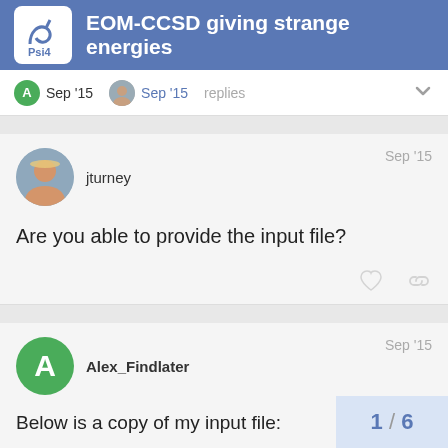EOM-CCSD giving strange energies
A Sep '15  [avatar] Sep '15  replies
jturney  Sep '15

Are you able to provide the input file?
Alex_Findlater  Sep '15

Below is a copy of my input file:

memory 12000 mb

molecule h2 {
C -0.641641916648 0.178394244349 0.00
1 / 6